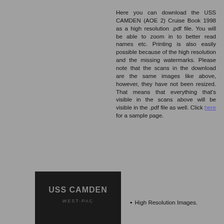Here you can download the USS CAMDEN (AOE 2) Cruise Book 1998 as a high resolution .pdf file. You will be able to zoom in to better read names etc. Printing is also easily possible because of the high resolution and the missing watermarks. Please note that the scans in the download are the same images like above, however, they have not been resized. That means that everything that's visible in the scans above will be visible in the .pdf file as well. Click here for a sample page.
[Figure (photo): Dark background image showing USS CAMDEN WEST-PAC text/emblem on what appears to be a dark fabric or surface]
High Resolution Images.